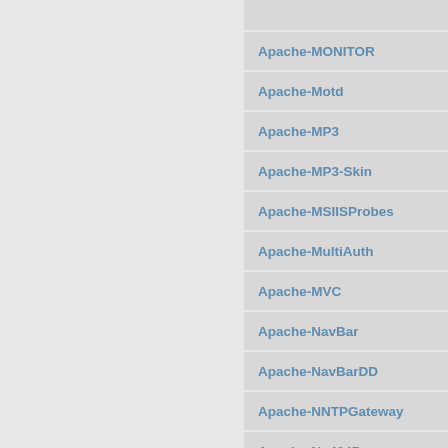Apache-MONITOR
Apache-Motd
Apache-MP3
Apache-MP3-Skin
Apache-MSIISProbes
Apache-MultiAuth
Apache-MVC
Apache-NavBar
Apache-NavBarDD
Apache-NNTPGateway
Apache-No404Proxy
Apache-No404Proxy-Mojilo